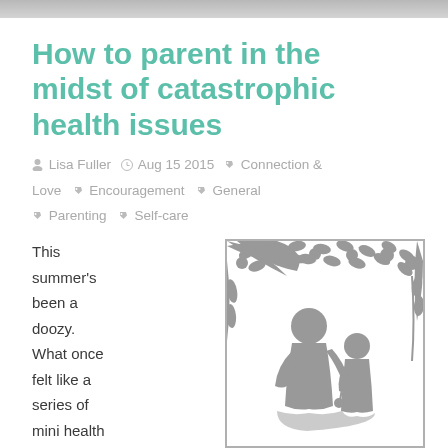[Figure (photo): Cropped top photo strip, partially visible]
How to parent in the midst of catastrophic health issues
Lisa Fuller  Aug 15 2015  Connection & Love  Encouragement  General  Parenting  Self-care
This summer's been a doozy. What once felt like a series of mini health crises has
[Figure (illustration): Silhouette illustration of adult and child under a tree with fruit/leaves, paper-cut style in grey]